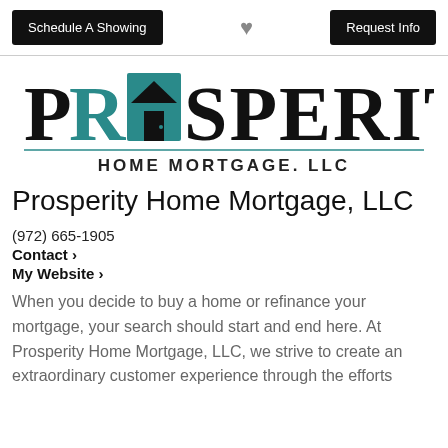Schedule A Showing | [heart icon] | Request Info
[Figure (logo): Prosperity Home Mortgage, LLC logo with large stylized text PROSPERITY (teal and black) with a house icon replacing the O, and HOME MORTGAGE. LLC in bold black below with a teal underline]
Prosperity Home Mortgage, LLC
(972) 665-1905
Contact >
My Website >
When you decide to buy a home or refinance your mortgage, your search should start and end here. At Prosperity Home Mortgage, LLC, we strive to create an extraordinary customer experience through the efforts